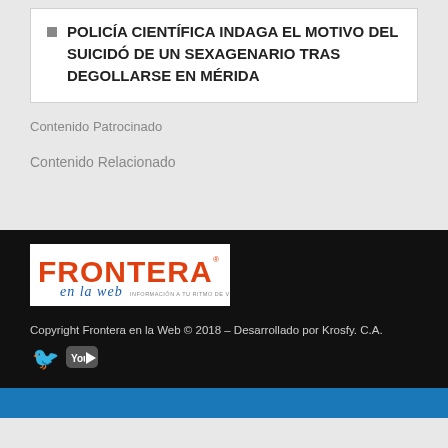POLICÍA CIENTÍFICA INDAGA EL MOTIVO DEL SUICIDÓ DE UN SEXAGENARIO TRAS DEGOLLARSE EN MÉRIDA
Contenido Patrocinado
Contenido Relacionado
[Figure (logo): Frontera en la Web logo - orange and red text with cursive subtitle reading 'en la web', tagline 'INFORMACIÓN A TU RITMO DE VIDA']
Copyright Frontera en la Web © 2018 – Desarrollado por Krosfy. C.A.